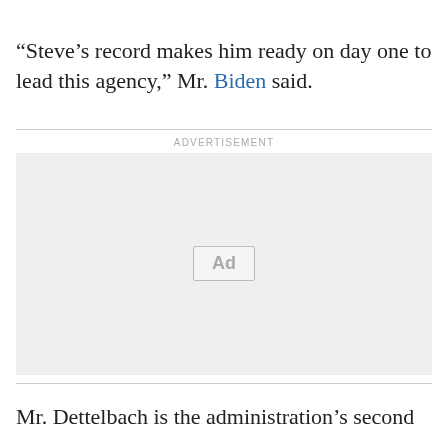“Steve’s record makes him ready on day one to lead this agency,” Mr. Biden said.
[Figure (other): Advertisement placeholder box with 'Ad' label]
Mr. Dettelbach is the administration’s second